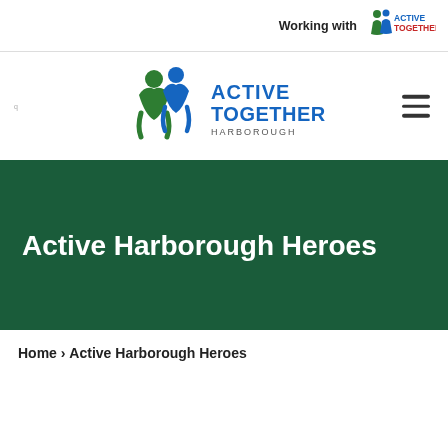Working with ACTIVE TOGETHER
[Figure (logo): Active Together Harborough logo — two figures (green and blue) with text ACTIVE TOGETHER HARBOROUGH]
Active Harborough Heroes
Home › Active Harborough Heroes